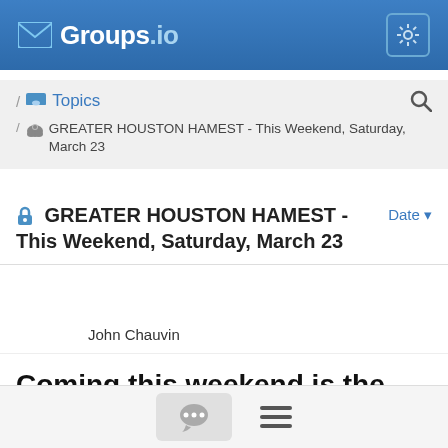Groups.io
/ Topics
/ GREATER HOUSTON HAMEST - This Weekend, Saturday, March 23
GREATER HOUSTON HAMEST - This Weekend, Saturday, March 23
Date
3/20/19 John Chauvin
Coming this weekend is the Greater